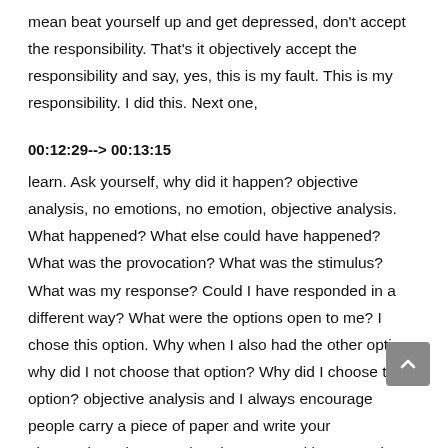mean beat yourself up and get depressed, don't accept the responsibility. That's it objectively accept the responsibility and say, yes, this is my fault. This is my responsibility. I did this. Next one,
00:12:29--> 00:13:15
learn. Ask yourself, why did it happen? objective analysis, no emotions, no emotion, objective analysis. What happened? What else could have happened? What was the provocation? What was the stimulus? What was my response? Could I have responded in a different way? What were the options open to me? I chose this option. Why when I also had the other option, why did I not choose that option? Why did I choose this option? objective analysis and I always encourage people carry a piece of paper and write your observations done number three, on and learn number three fix Now I know why it happened. Now I know what I did. Now I know what I